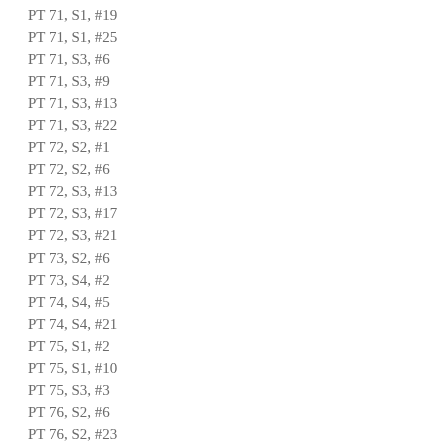PT 71, S1, #19
PT 71, S1, #25
PT 71, S3, #6
PT 71, S3, #9
PT 71, S3, #13
PT 71, S3, #22
PT 72, S2, #1
PT 72, S2, #6
PT 72, S3, #13
PT 72, S3, #17
PT 72, S3, #21
PT 73, S2, #6
PT 73, S4, #2
PT 74, S4, #5
PT 74, S4, #21
PT 75, S1, #2
PT 75, S1, #10
PT 75, S3, #3
PT 76, S2, #6
PT 76, S2, #23
PT 77, S2, #8
PT 77, S2, #16